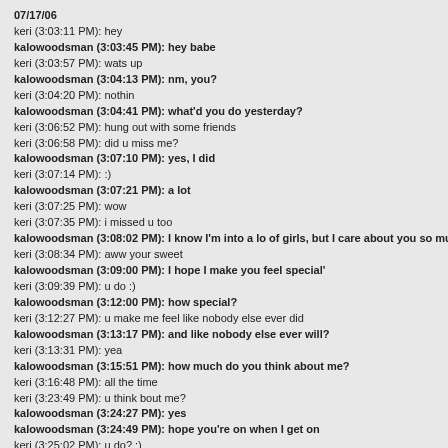07/17/06
keri (3:03:11 PM): hey
kalowoodsman (3:03:45 PM): hey babe
keri (3:03:57 PM): wats up
kalowoodsman (3:04:13 PM): nm, you?
keri (3:04:20 PM): nothin
kalowoodsman (3:04:41 PM): what'd you do yesterday?
keri (3:06:52 PM): hung out with some friends
keri (3:06:58 PM): did u miss me?
kalowoodsman (3:07:10 PM): yes, I did
keri (3:07:14 PM): :)
kalowoodsman (3:07:21 PM): a lot
keri (3:07:25 PM): wow
keri (3:07:35 PM): i missed u too
kalowoodsman (3:08:02 PM): I know I'm into a lo of girls, but I care about you so much
keri (3:08:34 PM): aww your sweet
kalowoodsman (3:09:00 PM): I hope I make you feel special'
keri (3:09:39 PM): u do :)
kalowoodsman (3:12:00 PM): how special?
keri (3:12:27 PM): u make me feel like nobody else ever did
kalowoodsman (3:13:17 PM): and like nobody else ever will?
keri (3:13:31 PM): yea
kalowoodsman (3:15:51 PM): how much do you think about me?
keri (3:16:48 PM): all the time
keri (3:23:49 PM): u think bout me?
kalowoodsman (3:24:27 PM): yes
kalowoodsman (3:24:49 PM): hope you're on when I get on
keri (3:25:02 PM): u do? :)
kalowoodsman (3:25:12 PM): yes
kalowoodsman (3:27:13 PM): :D
keri (3:27:24 PM): aww ur so sweet
kalowoodsman (3:32:23 PM): why?
keri (3:32:49 PM): that was nice to say u think about me
kalowoodsman (3:33:49 PM): that's cause you're my girl
keri (3:34:13 PM): aww :)
kalowoodsman (3:38:56 PM): do you like belonging to me?
keri (3:39:04 PM): yea